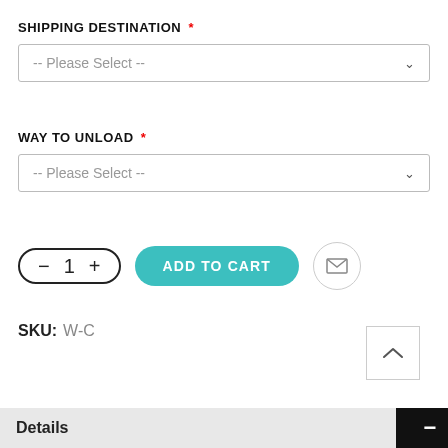SHIPPING DESTINATION *
[Figure (screenshot): Dropdown selector with placeholder text '-- Please Select --' and chevron icon]
WAY TO UNLOAD *
[Figure (screenshot): Dropdown selector with placeholder text '-- Please Select --' and chevron icon]
[Figure (screenshot): Quantity control with minus, 1, plus buttons; ADD TO CART button; email icon button]
SKU: W-C
[Figure (screenshot): Scroll-to-top button with upward chevron]
Details